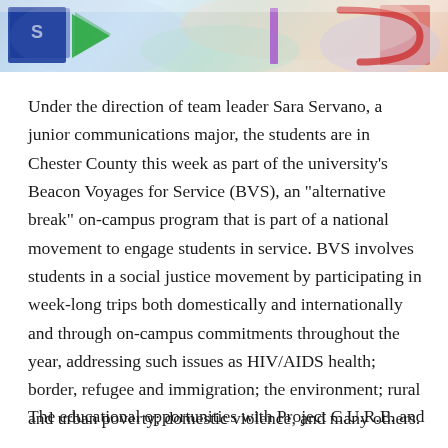[Figure (photo): Cropped photo strip showing educational/medical supplies including what appears to be a blue package with green arrow on the left and other colored items on the right]
Under the direction of team leader Sara Servano, a junior communications major, the students are in Chester County this week as part of the university’s Beacon Voyages for Service (BVS), an “alternative break” on-campus program that is part of a national movement to engage students in service. BVS involves students in a social justice movement by participating in week-long trips both domestically and internationally and through on-campus commitments throughout the year, addressing such issues as HIV/AIDS health; border, refugee and immigration; the environment; rural and urban poverty; domestic violence, and many others.
The educational opportunities with Project C.U.R.E. and